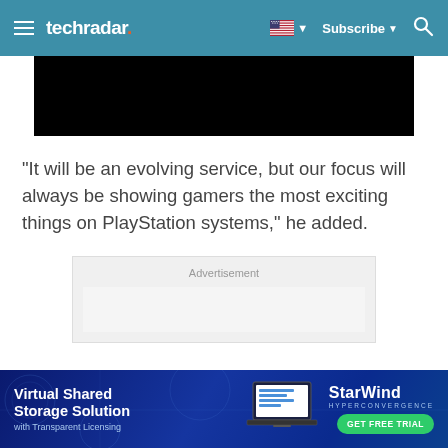techradar — Subscribe
[Figure (photo): Black image/video area]
"It will be an evolving service, but our focus will always be showing gamers the most exciting things on PlayStation systems," he added.
[Figure (other): Advertisement placeholder box]
[Figure (infographic): StarWind Hyperconvergence banner ad — Virtual Shared Storage Solution with Transparent Licensing — GET FREE TRIAL]